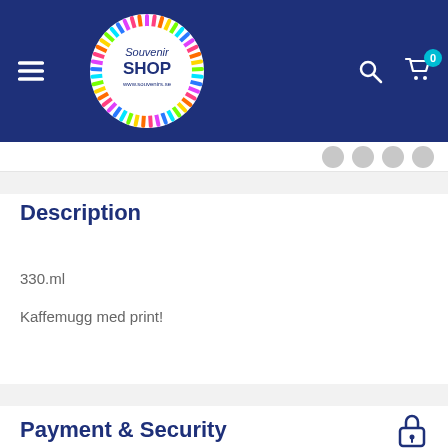[Figure (logo): Souvenir Shop logo — circular badge with colorful feather-like border, white center with 'Souvenir SHOP www.souvenirs.se' text in dark blue]
Description
330.ml
Kaffemugg med print!
Payment & Security